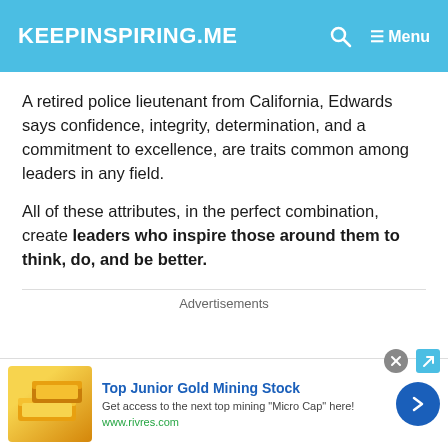KEEPINSPIRING.ME
A retired police lieutenant from California, Edwards says confidence, integrity, determination, and a commitment to excellence, are traits common among leaders in any field.
All of these attributes, in the perfect combination, create leaders who inspire those around them to think, do, and be better.
Advertisements
[Figure (screenshot): Advertisement banner for Top Junior Gold Mining Stock from rivres.com showing gold bars image, blue arrow button, and close button]